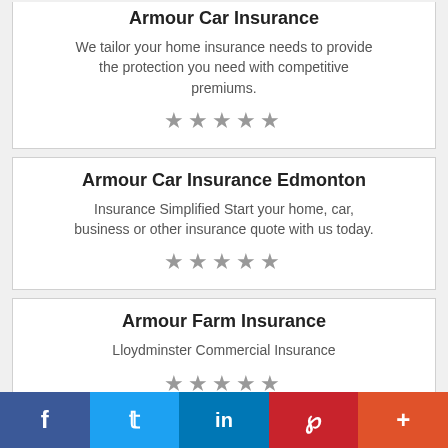Armour Car Insurance
We tailor your home insurance needs to provide the protection you need with competitive premiums.
[Figure (other): 5 grey stars rating]
Armour Car Insurance Edmonton
Insurance Simplified Start your home, car, business or other insurance quote with us today.
[Figure (other): 5 grey stars rating]
Armour Farm Insurance
Lloydminster Commercial Insurance
[Figure (other): 5 grey stars rating]
Facebook  Twitter  LinkedIn  Pinterest  More